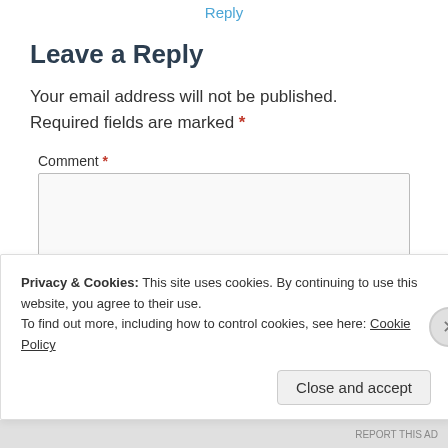Reply
Leave a Reply
Your email address will not be published. Required fields are marked *
Comment *
Privacy & Cookies: This site uses cookies. By continuing to use this website, you agree to their use.
To find out more, including how to control cookies, see here: Cookie Policy
Close and accept